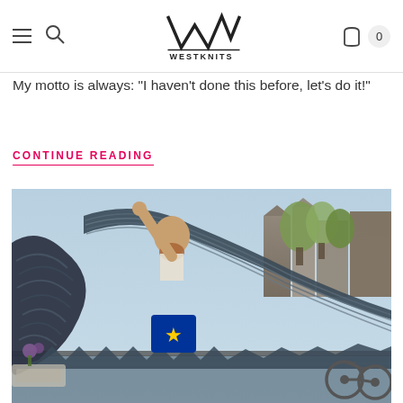WESTKNITS
My motto is always: "I haven’t done this before, let’s do it!"
CONTINUE READING
[Figure (photo): A bald man with a beard stands on a bridge in Amsterdam, holding up a large, striped knitted shawl spread wide like wings. The shawl has a grey and white zigzag pattern. He is wearing a blue EU flag backpack. Trees and canal houses are visible in the background.]